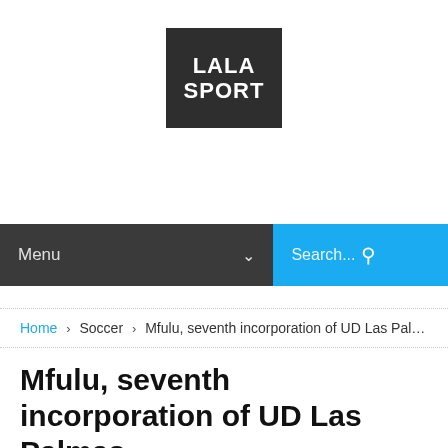[Figure (logo): LALA SPORT logo: white bold text on dark square background]
Menu  Search...
Home › Soccer › Mfulu, seventh incorporation of UD Las Palmas
Mfulu, seventh incorporation of UD Las Palmas